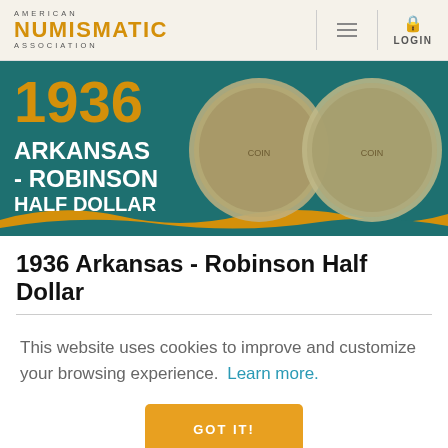AMERICAN NUMISMATIC ASSOCIATION
[Figure (illustration): 1936 Arkansas-Robinson Half Dollar banner image showing two silver commemorative coins on a teal background with gold text '1936 Arkansas - Robinson Half Dollar']
1936 Arkansas - Robinson Half Dollar
This website uses cookies to improve and customize your browsing experience. Learn more.
GOT IT!